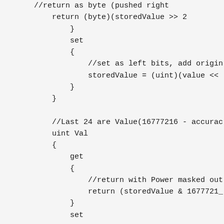//return as byte (pushed right
            return (byte)(storedValue >> 2
        }
        set
        {
            //set as left bits, add origin
            storedValue = (uint)(value <<
        }
    }

    //Last 24 are Value(16777216 - accurac
    uint Val
    {
        get
        {
            //return with Power masked out
            return (storedValue & 1677721_
        }
        set